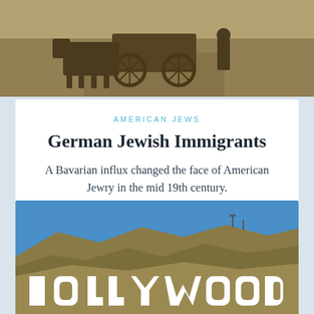[Figure (photo): Sepia-toned historical photograph showing a horse-drawn cart with figures standing nearby on a dirt road]
AMERICAN JEWS
German Jewish Immigrants
A Bavarian influx changed the face of American Jewry in the mid 19th century.
[Figure (photo): Color photograph of the Hollywood sign on a hillside under a bright blue sky]